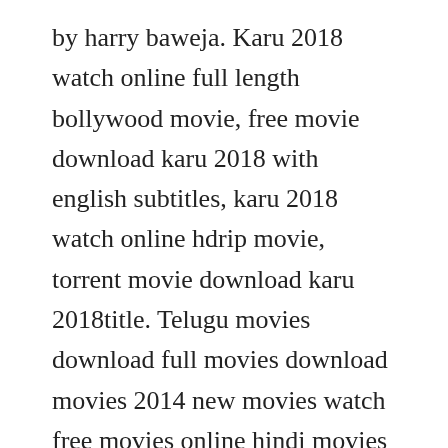by harry baweja. Karu 2018 watch online full length bollywood movie, free movie download karu 2018 with english subtitles, karu 2018 watch online hdrip movie, torrent movie download karu 2018title. Telugu movies download full movies download movies 2014 new movies watch free movies online hindi movies watches online wonder woman entertainment more information. The movie was dubbed into hindi as himmatwar and in telugu and hindi titled as pooja. Jan 03, 2019 ek villain 2014 bluray 720p torrent download bollywood. Please download the